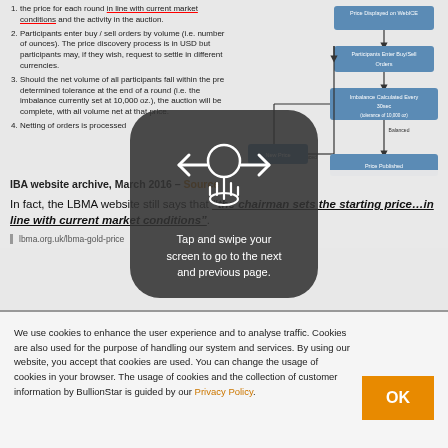the price for each round in line with current market conditions and the activity in the auction.
Participants enter buy / sell orders by volume (i.e. number of ounces). The price discovery process is in USD but participants may, if they wish, request to settle in different currencies.
Should the net volume of all participants fall within the pre determined tolerance at the end of a round (i.e. the imbalance currently set at 10,000 oz.), the auction will be complete, with all volume net at that price.
Netting of orders is processed.
[Figure (flowchart): Flowchart showing LBMA Gold Price auction process: Price Displayed on WebICE -> Participants Enter Buy/Sell Orders -> Imbalance Calculated Every 30sec (tolerance of 10,000 oz) -> if Imbalanced: New Price (loop back) -> if Balanced: Price Published]
IBA website archive, March 2016 – Source
In fact, the LBMA website still says that "the chairman sets the starting price…in line with current market conditions".
lbma.org.uk/lbma-gold-price
We use cookies to enhance the user experience and to analyse traffic. Cookies are also used for the purpose of handling our system and services. By using our website, you accept that cookies are used. You can change the usage of cookies in your browser. The usage of cookies and the collection of customer information by BullionStar is guided by our Privacy Policy.